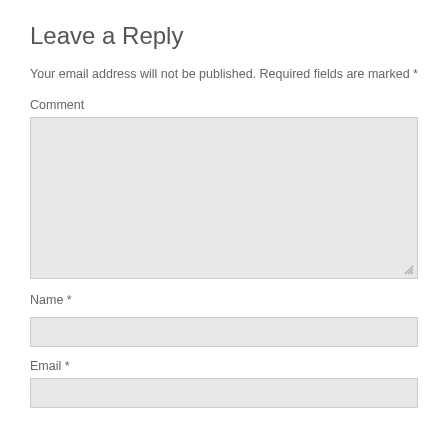Leave a Reply
Your email address will not be published. Required fields are marked *
Comment
[Figure (other): A large grey textarea input box for comment entry with a resize handle in the bottom-right corner]
Name *
[Figure (other): A grey single-line text input box for name entry]
Email *
[Figure (other): A grey single-line text input box for email entry]